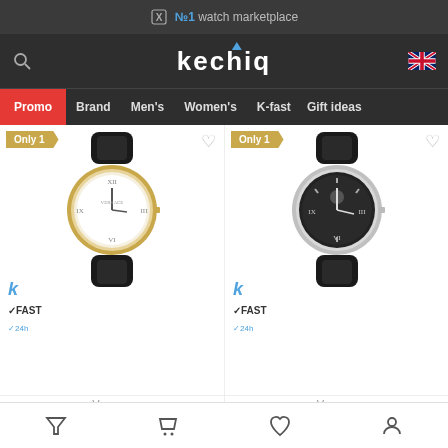№1 watch marketplace
kechiq
Promo
Brand
Men's
Women's
K-fast
Gift ideas
[Figure (photo): Versace Apollo gold watch with white dial and black leather strap, with Only 1 badge and KFAST 24h logo]
Versace
Versace Apollo VEUA00320 wristwatches mens quartz
2 670.00 → 2 228.00 →
[Figure (photo): Versace Apollo silver watch with black dial and black leather strap, with Only 1 badge and KFAST 24h logo]
Versace
Versace Apollo VEUA00120 wristwatches mens quartz
2 160.00 → 1 848.00 →